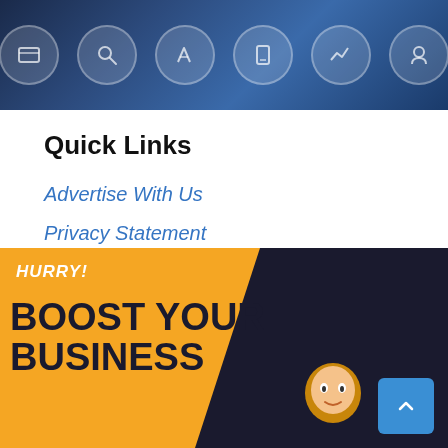[Figure (photo): Technology icons on dark blue background — circular icons with tools and digital symbols]
Quick Links
Advertise With Us
Privacy Statement
Cookie Policy
Site Map
[Figure (illustration): Promotional banner with yellow and dark background, text reading HURRY! BOOST YOUR BUSINESS, cartoon character, and blue scroll-to-top button]